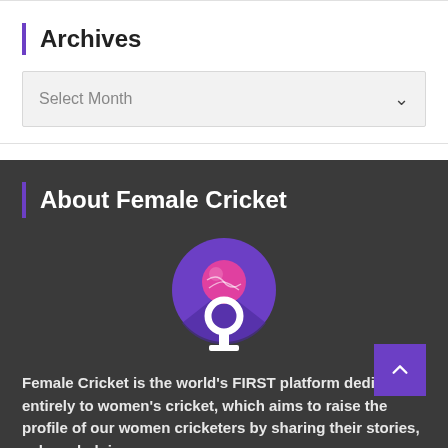Archives
Select Month
About Female Cricket
[Figure (logo): Female Cricket logo: purple circle with female symbol and a pink cricket ball inside]
Female Cricket is the world's FIRST platform dedicated entirely to women's cricket, which aims to raise the profile of our women cricketers by sharing their stories, acknowledging